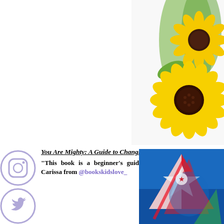[Figure (photo): Two yellow sunflowers with green leaves on a white background, positioned in the top-right corner]
[Figure (illustration): Instagram icon - camera outline in a lavender/purple circle]
[Figure (illustration): Twitter bird icon in a lavender/purple circle]
[Figure (illustration): Facebook 'f' icon in a lavender/purple circle (partially visible)]
You Are Mighty: A Guide to Changing the World, by
"This book is a beginner's guide to activism... world." — Carissa from @bookskidslove_
[Figure (photo): Bottom-right image showing colorful kite-like shapes against a blue sky background]